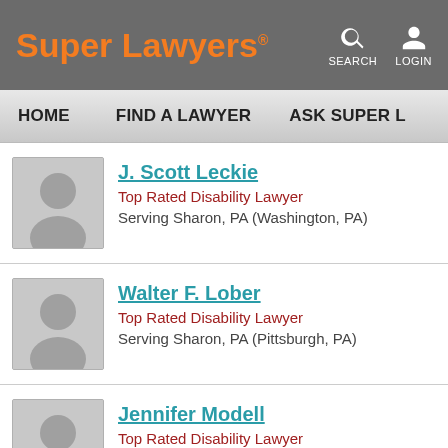Super Lawyers | SEARCH | LOGIN
HOME | FIND A LAWYER | ASK SUPER L...
J. Scott Leckie
Top Rated Disability Lawyer
Serving Sharon, PA (Washington, PA)
Walter F. Lober
Top Rated Disability Lawyer
Serving Sharon, PA (Pittsburgh, PA)
Jennifer Modell
Top Rated Disability Lawyer
Serving Sharon, PA (Pittsburgh, PA)